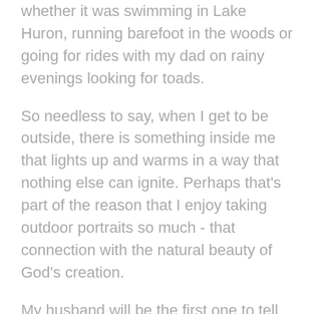whether it was swimming in Lake Huron, running barefoot in the woods or going for rides with my dad on rainy evenings looking for toads.
So needless to say, when I get to be outside, there is something inside me that lights up and warms in a way that nothing else can ignite. Perhaps that's part of the reason that I enjoy taking outdoor portraits so much - that connection with the natural beauty of God's creation.
My husband will be the first one to tell you that if I need to be cheered up, just take me on a hike. We just spent the last two days with some good friends up in one of the nearby